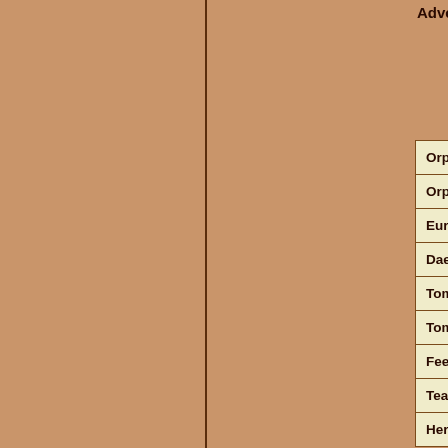Advertisements
| Orpheus and Eurydice |
| Orpheus |
| Eurydice |
| Daedalus and Icarus |
| Tomb of Pope Clement XIII |
| Tomb of Pope Clement XIII (detail) |
| Feed the Hungry |
| Teach the Ignorant |
| Hercules and Lichas |